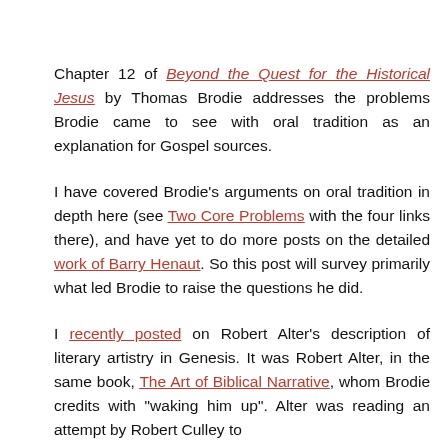Chapter 12 of Beyond the Quest for the Historical Jesus by Thomas Brodie addresses the problems Brodie came to see with oral tradition as an explanation for Gospel sources.
I have covered Brodie's arguments on oral tradition in depth here (see Two Core Problems with the four links there), and have yet to do more posts on the detailed work of Barry Henaut. So this post will survey primarily what led Brodie to raise the questions he did.
I recently posted on Robert Alter's description of literary artistry in Genesis. It was Robert Alter, in the same book, The Art of Biblical Narrative, whom Brodie credits with "waking him up". Alter was reading an attempt by Robert Culley to